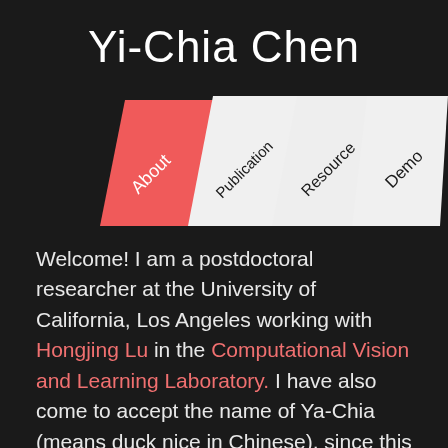Yi-Chia Chen
[Figure (infographic): Navigation tabs styled as parallelogram/ribbon shapes. Four tabs from left to right: 'About' (red/salmon colored), 'Publication' (white), 'Resource' (white), 'Demo' (white). Text on each tab is rotated diagonally.]
Welcome! I am a postdoctoral researcher at the University of California, Los Angeles working with Hongjing Lu in the Computational Vision and Learning Laboratory. I have also come to accept the name of Ya-Chia (means duck nice in Chinese), since this name often